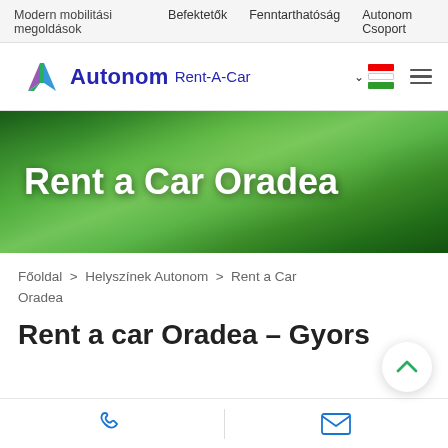Modern mobilitási megoldások
Befektetők   Fenntarthatóság   Autonom Csoport
[Figure (logo): Autonom Rent-A-Car logo with blue text and colorful arrow icon, Hungarian flag icon and hamburger menu on right]
[Figure (photo): Hero banner with aerial green forest/tree canopy background and large white text 'Rent a Car Oradea']
Rent a Car Oradea
Főoldal > Helyszínek Autonom > Rent a Car Oradea
Rent a car Oradea – Gyors